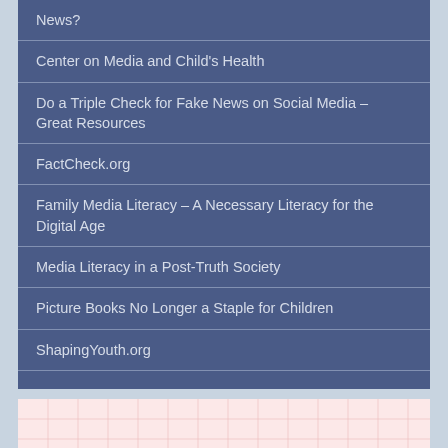News?
Center on Media and Child's Health
Do a Triple Check for Fake News on Social Media – Great Resources
FactCheck.org
Family Media Literacy – A Necessary Literacy for the Digital Age
Media Literacy in a Post-Truth Society
Picture Books No Longer a Staple for Children
ShapingYouth.org
What I'm Currently Reading